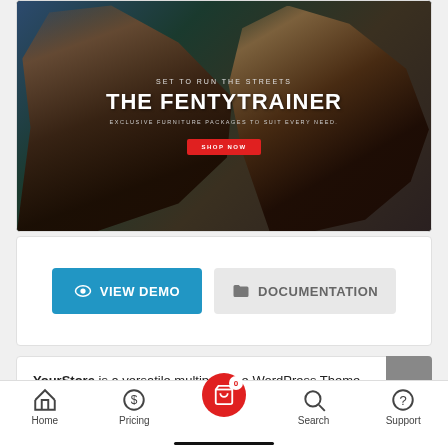[Figure (screenshot): Hero banner image for 'The Fentytrainer' showing two athletes in dark athletic wear against a moody background with a red 'Shop Now' button]
THE FENTYTRAINER
SET TO RUN THE STREETS
EXCLUSIVE FURNITURE PACKAGES TO SUIT EVERY NEED.
VIEW DEMO
DOCUMENTATION
YourStore is a versatile multipurpose WordPress Theme with 3 beautiful homepages.
The Slider Revolution WordPress theme offers you a wide variety of easy-to-use customization options and features. It
Home  Pricing  [Cart 0]  Search  Support